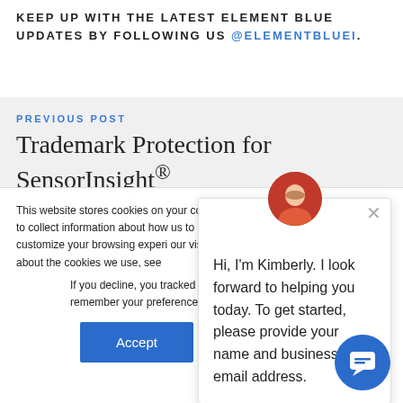KEEP UP WITH THE LATEST ELEMENT BLUE UPDATES BY FOLLOWING US @ELEMENTBLUEI.
PREVIOUS POST
Trademark Protection for SensorInsight®
This website stores cookies on your computer. These cookies are used to collect information about how us to remember you. We use th customize your browsing experi our visitors both on this websit about the cookies we use, see
If you decline, you tracked when you cookie will be used remember your preference not to be tracked.
Hi, I'm Kimberly. I look forward to helping you today. To get started, please provide your name and business email address.